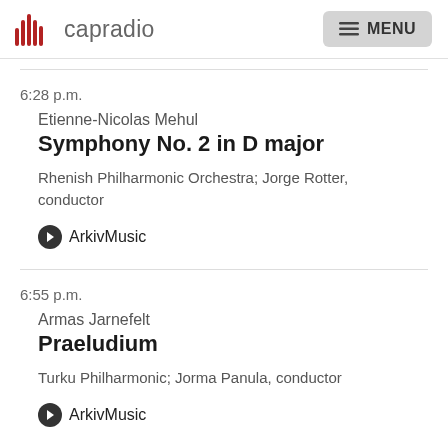capradio  MENU
6:28 p.m.
Etienne-Nicolas Mehul
Symphony No. 2 in D major
Rhenish Philharmonic Orchestra; Jorge Rotter, conductor
ArkivMusic
6:55 p.m.
Armas Jarnefelt
Praeludium
Turku Philharmonic; Jorma Panula, conductor
ArkivMusic